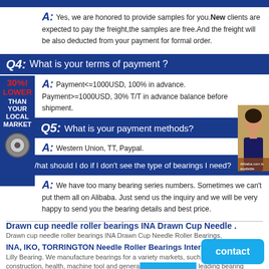A: Yes, we are honored to provide samples for you. New clients are expected to pay the freight,the samples are free. And the freight will be also deducted from your payment for formal order.
Q4: What is your terms of payment ?
A: Payment<=1000USD, 100% in advance. Payment>=1000USD, 30% T/T in advance balance before shipment.
Q5: What is your payment methods?
A: Western Union, TT, Paypal.
Q6: What should I do if I don't see the type of bearings I need?
A: We have too many bearing series numbers. Sometimes we can't put them all on Alibaba. Just send us the inquiry and we will be very happy to send you the bearing details and best price.
Drawn cup needle roller bearings INA Drawn Cup Needle .
Drawn cup needle roller bearings INA Drawn Cup Needle Roller Bearings,
INA, IKO, TORRINGTON Needle Roller Bearings Interchange .
Lilly Bearing. We manufacture bearings for a variety markets, such as, agriculture, construction, health, machine tool and general industry. We are a leading bearing manufacturer offering hundreds of types of bearings. We also have hundreds of thousands of bearing stocks.
contact